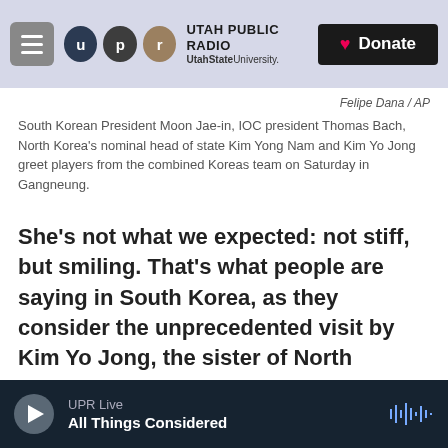UTAH PUBLIC RADIO | UtahStateUniversity. | Donate
Felipe Dana / AP
South Korean President Moon Jae-in, IOC president Thomas Bach, North Korea's nominal head of state Kim Yong Nam and Kim Yo Jong greet players from the combined Koreas team on Saturday in Gangneung.
She's not what we expected: not stiff, but smiling. That's what people are saying in South Korea, as they consider the unprecedented visit by Kim Yo Jong, the sister of North Korean leader Kim Jong Un, who has raised her profile dramatically at the Pyeongchang Winter Olympics.
UPR Live | All Things Considered